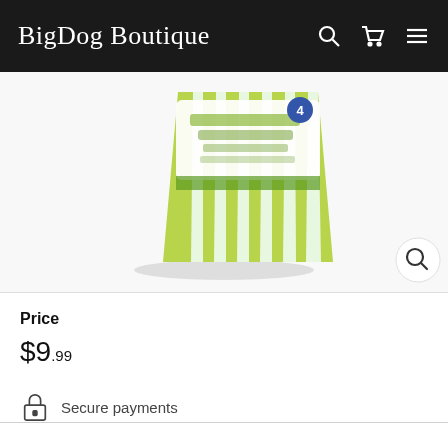BigDog Boutique
[Figure (photo): Product image: a package of dog treats with green and white striped packaging, partially cropped, with a magnify/zoom button in the lower right corner.]
Price
$9.99
Secure payments